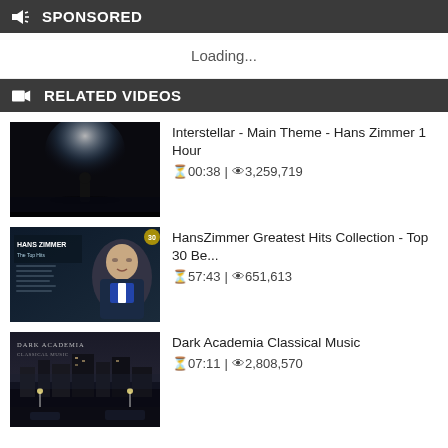🔊 SPONSORED
Loading...
🎥 RELATED VIDEOS
[Figure (photo): Thumbnail: dark cinematic scene of a silhouetted figure on a beach with light rays]
Interstellar - Main Theme - Hans Zimmer 1 Hour
⏱00:38 | 👁3,259,719
[Figure (photo): Thumbnail: Hans Zimmer Greatest Hits Collection - Top 30 Be... promotional image with Hans Zimmer portrait]
HansZimmer Greatest Hits Collection - Top 30 Be...
⏱57:43 | 👁651,613
[Figure (photo): Thumbnail: Dark Academia Classical Music - dark cityscape with foggy atmosphere]
Dark Academia Classical Music
⏱07:11 | 👁2,808,570